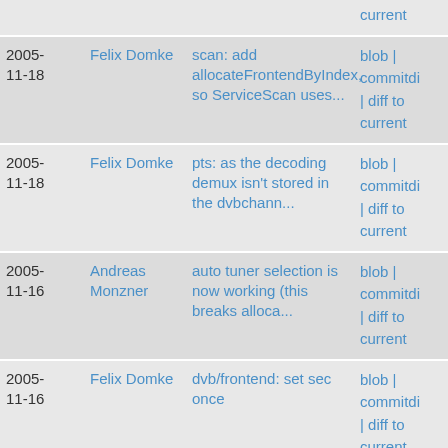| Date | Author | Commit message | Actions |
| --- | --- | --- | --- |
|  |  | current |  |
| 2005-11-18 | Felix Domke | scan: add allocateFrontendByIndex, so ServiceScan uses... | blob | commitdi | diff to current |
| 2005-11-18 | Felix Domke | pts: as the decoding demux isn't stored in the dvbchann... | blob | commitdi | diff to current |
| 2005-11-16 | Andreas Monzner | auto tuner selection is now working (this breaks alloca... | blob | commitdi | diff to current |
| 2005-11-16 | Felix Domke | dvb/frontend: set sec once | blob | commitdi | diff to current |
| 2005- | Felix | add - untestd - frontend | blob | |